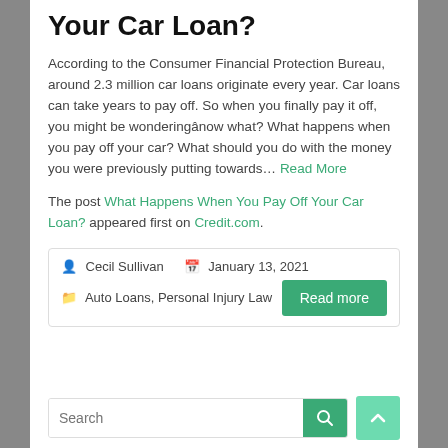Your Car Loan?
According to the Consumer Financial Protection Bureau, around 2.3 million car loans originate every year. Car loans can take years to pay off. So when you finally pay it off, you might be wonderingâ€”now what? What happens when you pay off your car? What should you do with the money you were previously putting towards… Read More
The post What Happens When You Pay Off Your Car Loan? appeared first on Credit.com.
Cecil Sullivan  January 13, 2021  Auto Loans, Personal Injury Law  Read more